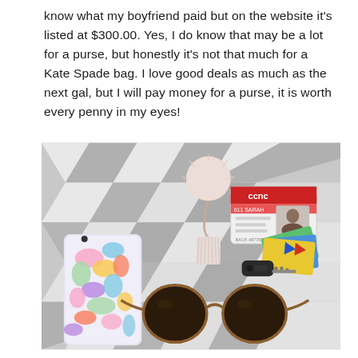know what my boyfriend paid but on the website it's listed at $300.00. Yes, I do know that may be a lot for a purse, but honestly it's not that much for a Kate Spade bag. I love good deals as much as the next gal, but I will pay money for a purse, it is worth every penny in my eyes!
[Figure (photo): Flat lay photo on a grey and white chevron/diamond patterned rug showing: a pink fluffy pom-pom keychain with a tassel and car keys, an ID card (CCNC badge with a woman's photo), colorful cards/tickets, a colorful Lilly Pulitzer-style floral iPhone case, and round brown tortoise-shell sunglasses.]